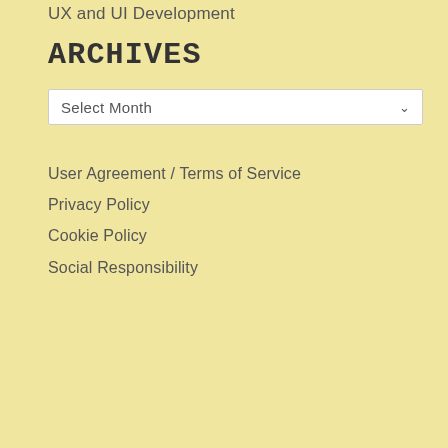UX and UI Development
ARCHIVES
Select Month
User Agreement / Terms of Service
Privacy Policy
Cookie Policy
Social Responsibility